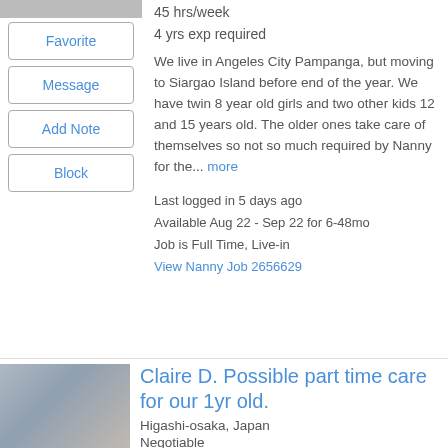45 hrs/week
4 yrs exp required
Favorite
Message
Add Note
Block
We live in Angeles City Pampanga, but moving to Siargao Island before end of the year. We have twin 8 year old girls and two other kids 12 and 15 years old. The older ones take care of themselves so not so much required by Nanny for the... more
Last logged in 5 days ago
Available Aug 22 - Sep 22 for 6-48mo
Job is Full Time, Live-in
View Nanny Job 2656629
[Figure (photo): Photo of two young girls smiling]
Claire D. Possible part time care for our 1yr old.
Higashi-osaka, Japan
Negotiable